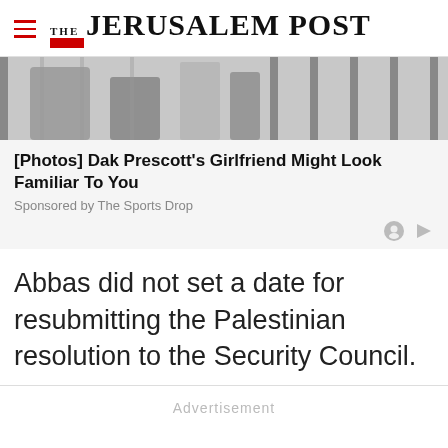THE JERUSALEM POST
[Figure (photo): Partial image of people, cropped, used as advertisement/sponsored content image]
[Photos] Dak Prescott's Girlfriend Might Look Familiar To You
Sponsored by The Sports Drop
Abbas did not set a date for resubmitting the Palestinian resolution to the Security Council.
Advertisement